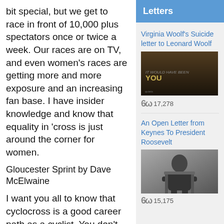bit special, but we get to race in front of 10,000 plus spectators once or twice a week. Our races are on TV, and even women's races are getting more and more exposure and an increasing fan base. I have insider knowledge and know that equality in 'cross is just around the corner for women.
Gloucester Sprint by Dave McElwaine
I want you all to know that cyclocross is a good career path as a cyclist. You don't have to be an MTB rider, or a track rider. If you love cyclocross, please race cyclocross. There are good teams at the top of the sport, wonderful people running development teams, there is huge financial reward, there is fame
Letters
Virginia Woolf's Suicide letter to Leonard Woolf
[Figure (photo): Dark atmospheric image with text 'IT WOULD HAVE BEEN YOU']
17,278
An Open Letter from Keynes To President Roosevelt
[Figure (photo): Black and white portrait photo of Keynes sitting]
15,175